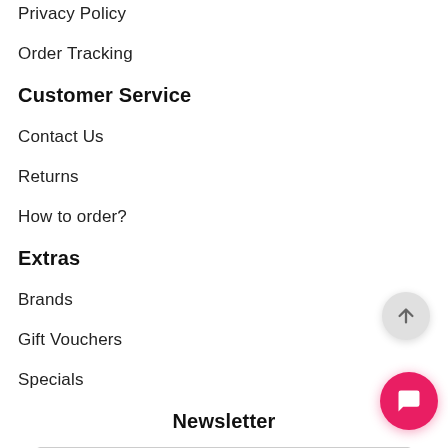Privacy Policy
Order Tracking
Customer Service
Contact Us
Returns
How to order?
Extras
Brands
Gift Vouchers
Specials
Newsletter
Your email address
You may unsubscribe at any moment. For that purpose, please